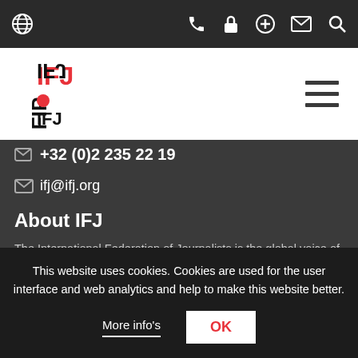IFJ website navigation bar with globe, phone, lock, plus, envelope, and search icons
[Figure (logo): IFJ / FIJ logo — red and black text stacked vertically]
+32 (0)2 235 22 19
ifj@ifj.org
About IFJ
The International Federation of Journalists is the global voice of journalists.
Founded in 1926, it is the world's largest organisation of
This website uses cookies. Cookies are used for the user interface and web analytics and help to make this website better.